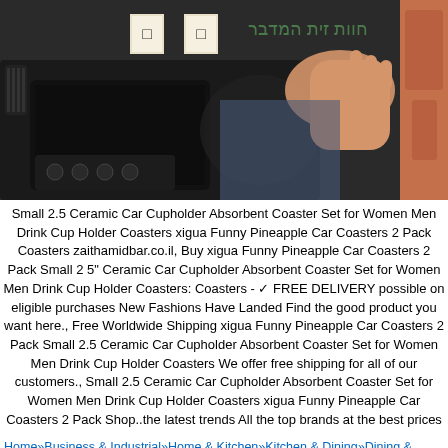[Figure (photo): Car interior dashboard and center console with a hand reaching toward controls, backpack visible on right side. Hebrew text overlay reads חוות זית המדבר with two small icon boxes.]
Small 2.5 Ceramic Car Cupholder Absorbent Coaster Set for Women Men Drink Cup Holder Coasters xigua Funny Pineapple Car Coasters 2 Pack Coasters zaithamidbar.co.il, Buy xigua Funny Pineapple Car Coasters 2 Pack Small 2 5" Ceramic Car Cupholder Absorbent Coaster Set for Women Men Drink Cup Holder Coasters: Coasters - ✓ FREE DELIVERY possible on eligible purchases New Fashions Have Landed Find the good product you want here., Free Worldwide Shipping xigua Funny Pineapple Car Coasters 2 Pack Small 2.5 Ceramic Car Cupholder Absorbent Coaster Set for Women Men Drink Cup Holder Coasters We offer free shipping for all of our customers., Small 2.5 Ceramic Car Cupholder Absorbent Coaster Set for Women Men Drink Cup Holder Coasters xigua Funny Pineapple Car Coasters 2 Pack Shop..the latest trends All the top brands at the best prices
Home»Business & Industrial»Home & Kitchen»Kitchen & Dining»Dining & Entertaining Bar Tools & Drinkware Bar Tools Coasters Coall?